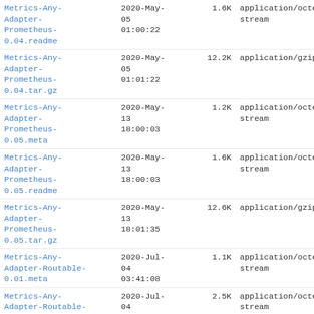| Name | Date | Size | Type |
| --- | --- | --- | --- |
| Metrics-Any-Adapter-Prometheus-0.04.readme | 2020-May-05 01:00:22 | 1.6K | application/octet-stream |
| Metrics-Any-Adapter-Prometheus-0.04.tar.gz | 2020-May-05 01:01:22 | 12.2K | application/gzip |
| Metrics-Any-Adapter-Prometheus-0.05.meta | 2020-May-13 18:00:03 | 1.2K | application/octet-stream |
| Metrics-Any-Adapter-Prometheus-0.05.readme | 2020-May-13 18:00:03 | 1.6K | application/octet-stream |
| Metrics-Any-Adapter-Prometheus-0.05.tar.gz | 2020-May-13 18:01:35 | 12.6K | application/gzip |
| Metrics-Any-Adapter-Routable-0.01.meta | 2020-Jul-04 03:41:08 | 1.1K | application/octet-stream |
| Metrics-Any-Adapter-Routable-0.01.readme | 2020-Jul-04 03:41:08 | 2.5K | application/octet-stream |
| Metrics-Any-Adapter-Routable-0.01.tar.gz | 2020-Jul-04 03:49:03 | 12.4K | application/gzip |
| Metrics-Any-Adapter-Statsd-0.01.meta | 2020-Apr-29 17:40:15 | 1.3K | application/octet-stream |
| Metrics-Any-Adapter-Statsd- | 2020-Apr-29 | 1.7K | application/octet-stream |